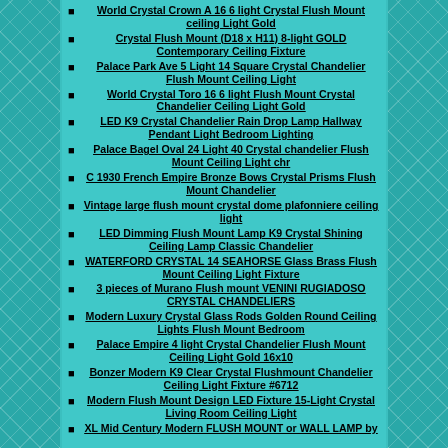World Crystal Crown A 16 6 light Crystal Flush Mount ceiling Light Gold
Crystal Flush Mount (D18 x H11) 8-light GOLD Contemporary Ceiling Fixture
Palace Park Ave 5 Light 14 Square Crystal Chandelier Flush Mount Ceiling Light
World Crystal Toro 16 6 light Flush Mount Crystal Chandelier Ceiling Light Gold
LED K9 Crystal Chandelier Rain Drop Lamp Hallway Pendant Light Bedroom Lighting
Palace Bagel Oval 24 Light 40 Crystal chandelier Flush Mount Ceiling Light chr
C 1930 French Empire Bronze Bows Crystal Prisms Flush Mount Chandelier
Vintage large flush mount crystal dome plafonniere ceiling light
LED Dimming Flush Mount Lamp K9 Crystal Shining Ceiling Lamp Classic Chandelier
WATERFORD CRYSTAL 14 SEAHORSE Glass Brass Flush Mount Ceiling Light Fixture
3 pieces of Murano Flush mount VENINI RUGIADOSO CRYSTAL CHANDELIERS
Modern Luxury Crystal Glass Rods Golden Round Ceiling Lights Flush Mount Bedroom
Palace Empire 4 light Crystal Chandelier Flush Mount Ceiling Light Gold 16x10
Bonzer Modern K9 Clear Crystal Flushmount Chandelier Ceiling Light Fixture #6712
Modern Flush Mount Design LED Fixture 15-Light Crystal Living Room Ceiling Light
XL Mid Century Modern FLUSH MOUNT or WALL LAMP by